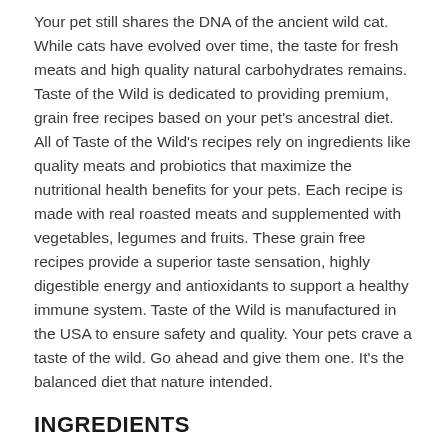Your pet still shares the DNA of the ancient wild cat. While cats have evolved over time, the taste for fresh meats and high quality natural carbohydrates remains. Taste of the Wild is dedicated to providing premium, grain free recipes based on your pet's ancestral diet. All of Taste of the Wild's recipes rely on ingredients like quality meats and probiotics that maximize the nutritional health benefits for your pets. Each recipe is made with real roasted meats and supplemented with vegetables, legumes and fruits. These grain free recipes provide a superior taste sensation, highly digestible energy and antioxidants to support a healthy immune system. Taste of the Wild is manufactured in the USA to ensure safety and quality. Your pets crave a taste of the wild. Go ahead and give them one. It's the balanced diet that nature intended.
INGREDIENTS
Salmon, fish broth, chicken broth, chicken liver, chicken